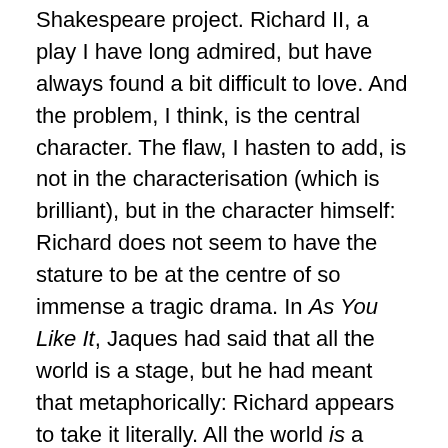Shakespeare project. Richard II, a play I have long admired, but have always found a bit difficult to love. And the problem, I think, is the central character. The flaw, I hasten to add, is not in the characterisation (which is brilliant), but in the character himself: Richard does not seem to have the stature to be at the centre of so immense a tragic drama. In As You Like It, Jaques had said that all the world is a stage, but he had meant that metaphorically: Richard appears to take it literally. All the world is a stage, and he, the king, is the star player, the actor constantly in the spotlight. Never does any protagonist in any Shakespeare play speak so much, and to so little purpose. Hamlet talks a lot, both to others and to himself, but that's because he has much to say: his speech is often very concentrated, because so many ideas are packed into it; and often, his mind moves so quickly from one idea to another, it is difficult keeping up.